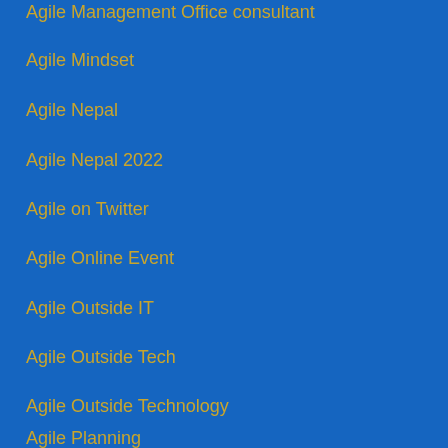Agile Management Office consultant
Agile Mindset
Agile Nepal
Agile Nepal 2022
Agile on Twitter
Agile Online Event
Agile Outside IT
Agile Outside Tech
Agile Outside Technology
Agile Planning